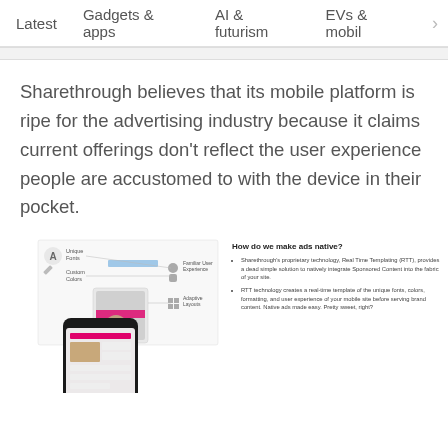Latest   Gadgets & apps   AI & futurism   EVs & mobil >
Sharethrough believes that its mobile platform is ripe for the advertising industry because it claims current offerings don't reflect the user experience people are accustomed to with the device in their pocket.
[Figure (infographic): Diagram of a smartphone showing native ad integration with labels: Unique Fonts, Custom Colors, Familiar User Experience, Adaptive Layouts. Alongside text explaining Sharethrough's Real Time Templating (RTT) technology for native ads.]